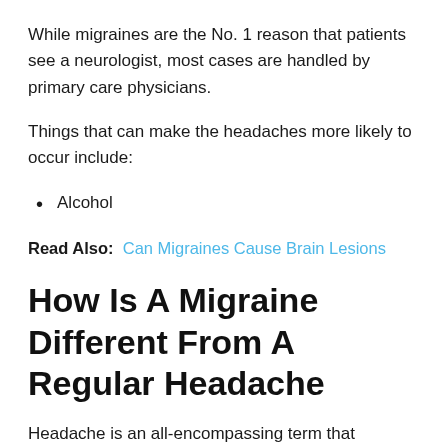While migraines are the No. 1 reason that patients see a neurologist, most cases are handled by primary care physicians.
Things that can make the headaches more likely to occur include:
Alcohol
Read Also: Can Migraines Cause Brain Lesions
How Is A Migraine Different From A Regular Headache
Headache is an all-encompassing term that includes a wide variety of nervous system conditions that cause painful